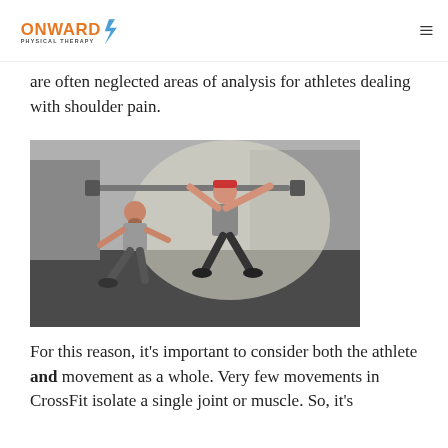Onward Physical Therapy
are often neglected areas of analysis for athletes dealing with shoulder pain.
[Figure (photo): A physical therapist kneeling beside a CrossFit athlete who is in a deep squat position holding a barbell overhead in a gym setting.]
For this reason, it's important to consider both the athlete and movement as a whole. Very few movements in CrossFit isolate a single joint or muscle. So, it's